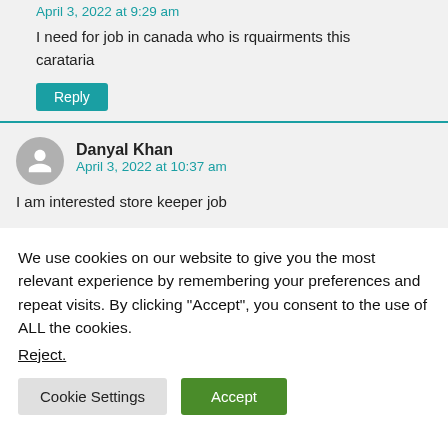April 3, 2022 at 9:29 am
I need for job in canada who is rquairments this carataria
Reply
Danyal Khan
April 3, 2022 at 10:37 am
I am interested store keeper job
We use cookies on our website to give you the most relevant experience by remembering your preferences and repeat visits. By clicking “Accept”, you consent to the use of ALL the cookies.
Reject.
Cookie Settings
Accept